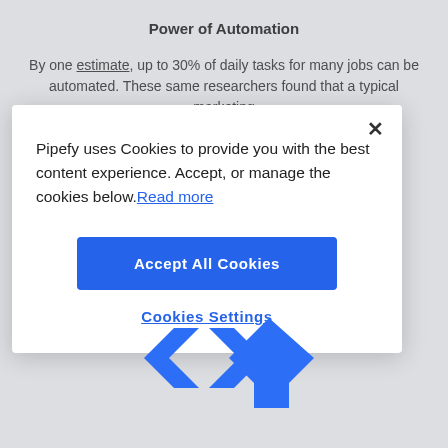Power of Automation
By one estimate, up to 30% of daily tasks for many jobs can be automated. These same researchers found that a typical marketing
Pipefy uses Cookies to provide you with the best content experience. Accept, or manage the cookies below. Read more
Accept All Cookies
Cookies Settings
[Figure (logo): Pipefy logo in blue, showing stylized angular geometric shapes forming the letter P]